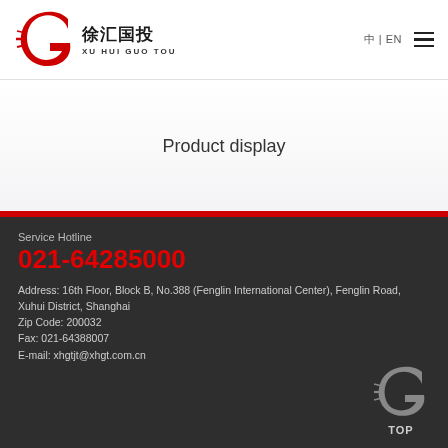[Figure (logo): Xu Hui Guo Tou company logo — red stylized G mark with horizontal speed lines, followed by Chinese characters 徐汇国投 and romanized text XU HUI GUO TOU]
中 | EN  ☰
Product display
Service Hotline
021-64285000
Address: 16th Floor, Block B, No.388 (Fenglin International Center), Fenglin Road, Xuhui District, Shanghai
Zip Code: 200032
Fax: 021-64388007
E-mail: xhgtjt@xhgt.com.cn
[Figure (logo): Greyscale version of Xu Hui Guo Tou logo mark — stylized G with speed lines, above text TOP]